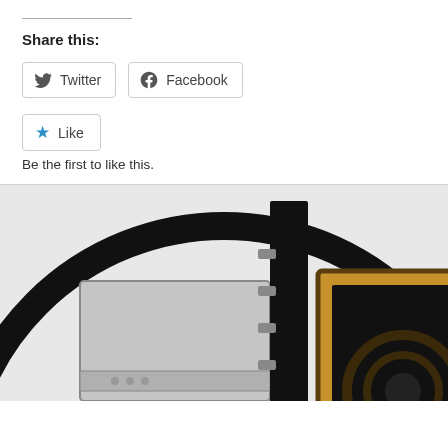Share this:
[Figure (illustration): Twitter and Facebook share buttons, and a Like button with star icon, followed by text 'Be the first to like this.']
Be the first to like this.
[Figure (illustration): Illustration showing a speaker/audio equipment with a large circular ring, a brown speaker box with concentric arcs, and a grey rack-mounted device, on a light grey background.]